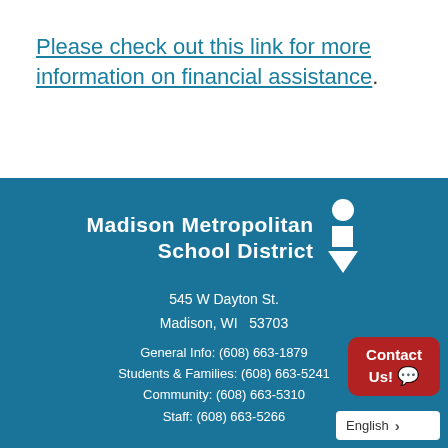Please check out this link for more information on financial assistance.
[Figure (logo): Madison Metropolitan School District logo with white text and geometric icon (circle, square, triangle) on teal background]
545 W Dayton St.
Madison, WI  53703
General Info: (608) 663-1879
Students & Families: (608) 663-5241
Community: (608) 663-5310
Staff: (608) 663-5266